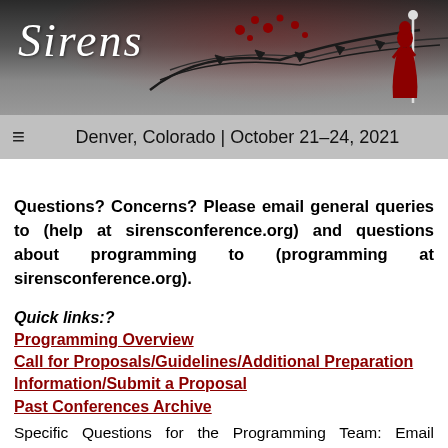Sirens — Denver, Colorado | October 21–24, 2021
Questions? Concerns? Please email general queries to (help at sirensconference.org) and questions about programming to (programming at sirensconference.org).
Quick links:?
Programming Overview
Call for Proposals/Guidelines/Additional Preparation Information/Submit a Proposal
Past Conferences Archive
Specific Questions for the Programming Team: Email (programming at sirensconference.org)